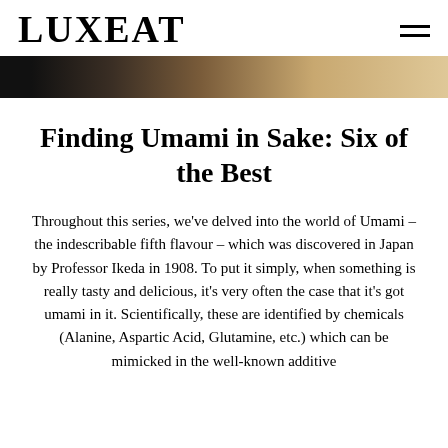LUXEAT
[Figure (photo): Partial banner image with dark left edge fading to warm brown and tan tones on the right]
Finding Umami in Sake: Six of the Best
Throughout this series, we've delved into the world of Umami – the indescribable fifth flavour – which was discovered in Japan by Professor Ikeda in 1908. To put it simply, when something is really tasty and delicious, it's very often the case that it's got umami in it. Scientifically, these are identified by chemicals (Alanine, Aspartic Acid, Glutamine, etc.) which can be mimicked in the well-known additive